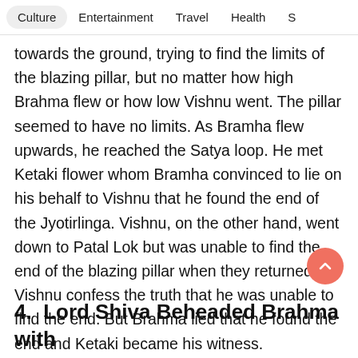Culture   Entertainment   Travel   Health   S
towards the ground, trying to find the limits of the blazing pillar, but no matter how high Brahma flew or how low Vishnu went. The pillar seemed to have no limits. As Bramha flew upwards, he reached the Satya loop. He met Ketaki flower whom Bramha convinced to lie on his behalf to Vishnu that he found the end of the Jyotirlinga. Vishnu, on the other hand, went down to Patal Lok but was unable to find the end of the blazing pillar when they returned Vishnu confess the truth that he was unable to find the end. But Brahma lied that he found the end and Ketaki became his witness.
4.  Lord Shiva Beheaded Brahma with